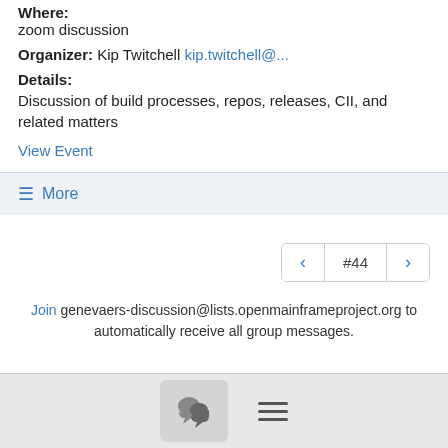Where:
zoom discussion
Organizer: Kip Twitchell kip.twitchell@...
Details:
Discussion of build processes, repos, releases, CII, and related matters
View Event
≡ More
#44
Join genevaers-discussion@lists.openmainframeproject.org to automatically receive all group messages.